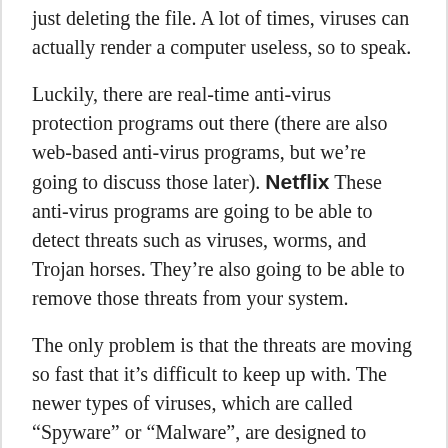just deleting the file. A lot of times, viruses can actually render a computer useless, so to speak.
Luckily, there are real-time anti-virus protection programs out there (there are also web-based anti-virus programs, but we're going to discuss those later). Netflix These anti-virus programs are going to be able to detect threats such as viruses, worms, and Trojan horses. They're also going to be able to remove those threats from your system.
The only problem is that the threats are moving so fast that it's difficult to keep up with. The newer types of viruses, which are called “Spyware” or “Malware”, are designed to